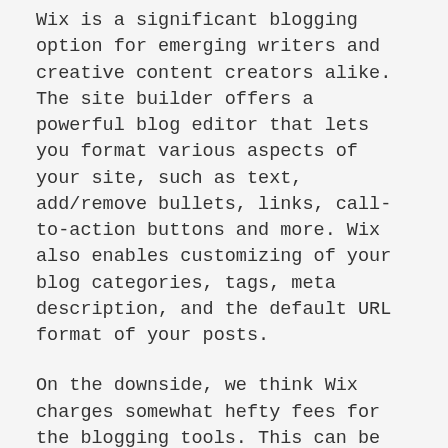Wix is a significant blogging option for emerging writers and creative content creators alike. The site builder offers a powerful blog editor that lets you format various aspects of your site, such as text, add/remove bullets, links, call-to-action buttons and more. Wix also enables customizing of your blog categories, tags, meta description, and the default URL format of your posts.
On the downside, we think Wix charges somewhat hefty fees for the blogging tools. This can be attributed to most bloggers and content creators being on a budget. Alternatively, if you can stomach the Wix branding on the blog site, opt for the free builds but they give limited. However, if you can pull the budget, the premium package starts at $14 a month.
Wix features to limit it...